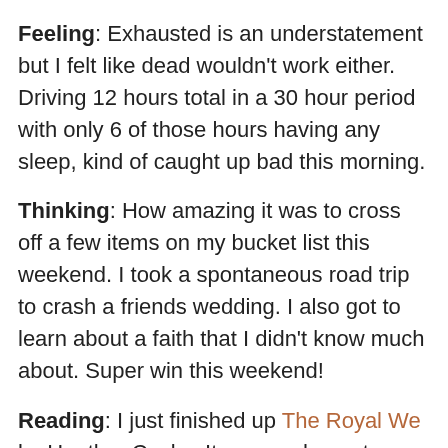Feeling: Exhausted is an understatement but I felt like dead wouldn't work either. Driving 12 hours total in a 30 hour period with only 6 of those hours having any sleep, kind of caught up bad this morning.
Thinking: How amazing it was to cross off a few items on my bucket list this weekend. I took a spontaneous road trip to crash a friends wedding. I also got to learn about a faith that I didn't know much about. Super win this weekend!
Reading: I just finished up The Royal We by Heather Cocks. It was such a cute book. Now I am craving another Brit Lit! Any suggestions?
Planning: Well the obvious answer would be my wedding. So much stuff already checked off and still so many little things to do. On top of my wedding I am also planning some other life